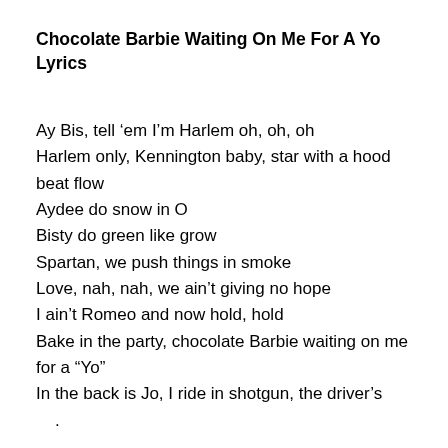Chocolate Barbie Waiting On Me For A Yo Lyrics
Ay Bis, tell 'em I'm Harlem oh, oh, oh
Harlem only, Kennington baby, star with a hood beat flow
Aydee do snow in O
Bisty do green like grow
Spartan, we push things in smoke
Love, nah, nah, we ain't giving no hope
I ain't Romeo and now hold, hold
Bake in the party, chocolate Barbie waiting on me for a “Yo”
In the back is Jo, I ride in shotgun, the driver's
.